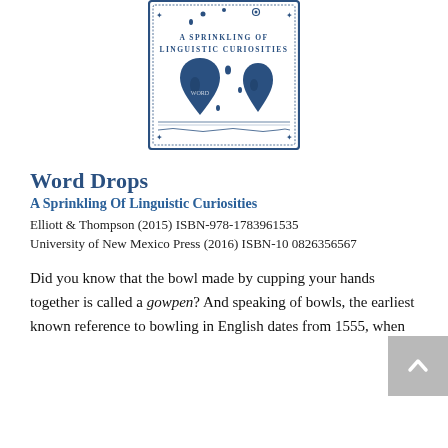[Figure (illustration): Book cover for 'Word Drops: A Sprinkling of Linguistic Curiosities'. Blue decorative border with water drop illustrations and the subtitle text in dark blue on white background.]
Word Drops
A Sprinkling Of Linguistic Curiosities
Elliott & Thompson (2015) ISBN-978-1783961535
University of New Mexico Press (2016) ISBN-10 0826356567
Did you know that the bowl made by cupping your hands together is called a gowpen? And speaking of bowls, the earliest known reference to bowling in English dates from 1555, when